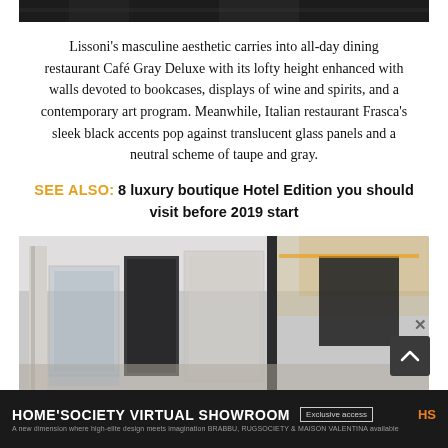[Figure (photo): Top cropped photo of hotel interior, dark strip visible at top]
Lissoni's masculine aesthetic carries into all-day dining restaurant Café Gray Deluxe with its lofty height enhanced with walls devoted to bookcases, displays of wine and spirits, and a contemporary art program. Meanwhile, Italian restaurant Frasca's sleek black accents pop against translucent glass panels and a neutral scheme of taupe and gray.
SEE ALSO: 8 luxury boutique Hotel Edition you should visit before 2019 start
[Figure (photo): Interior of a luxury hotel or restaurant space with glass panels, warm lighting, and modern design elements]
HOME'SOCIETY VIRTUAL SHOWROOM | Exclusive access | A new dimension where high-elite design meets imagination BRABBU, RUGSOCIETY & MAISON VALENTINA available